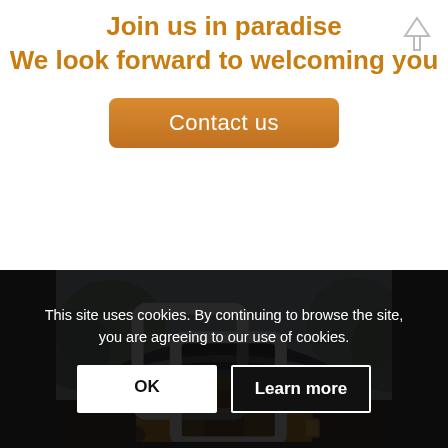Join us in paradise
We look forward to welcoming you
Contact us
[Figure (photo): A thatched-roof African lodge/hut warmly lit from inside, surrounded by trees, at dusk or evening]
This site uses cookies. By continuing to browse the site, you are agreeing to our use of cookies.
OK
Learn more